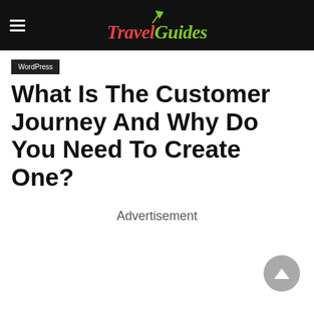TravelGuides
WordPress
What Is The Customer Journey And Why Do You Need To Create One?
Advertisement